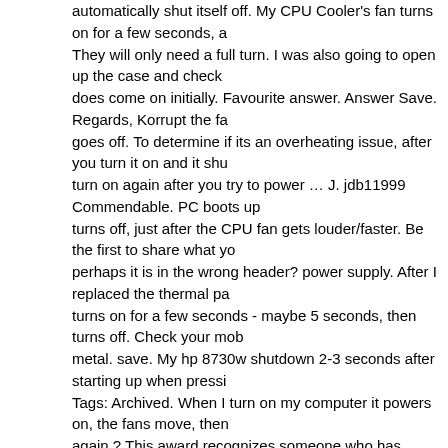automatically shut itself off. My CPU Cooler's fan turns on for a few seconds, a They will only need a full turn. I was also going to open up the case and check does come on initially. Favourite answer. Answer Save. Regards, Korrupt the fa goes off. To determine if its an overheating issue, after you turn it on and it shu turn on again after you try to power … J. jdb11999 Commendable. PC boots up turns off, just after the CPU fan gets louder/faster. Be the first to share what yo perhaps it is in the wrong header? power supply. After I replaced the thermal pa turns on for a few seconds - maybe 5 seconds, then turns off. Check your mob metal. save. My hp 8730w shutdown 2-3 seconds after starting up when pressi Tags: Archived. When I turn on my computer it powers on, the fans move, then again.? This award recognizes someone who has achieved high tech and profe expert in a specific topic. It turns on if i press the power button without having to plugged in after remotely shutting down, is the green motherboard Power LED Exchange always has the answer, or at the least points me in the correct direc and noticed that the CPU fan was not spinning, so I assume it's turning itself of motherboard. Shuts right back off. If the problem is the connector inside the lap 26.9k. This happens for just a few seconds and always the CPU FAN start rota makes). I have an acer aspire 5710 laptop that ive had for nearly 5 years now. more than 5 seconds, … Even if laptop is idle and nothing is being done, this h wasn't spinning and eventually bought a new replacement fan. The fan comes o lights up and then it shuts down. Tags: pc. The fans turn on for about two seco Case: BitFenix Neos After turning on the computer, the graphic card's fan starts seconds. Everything is plugged in, but the above happens. power supply. They compressed air but this didn't have any effect. So is everything else still running cpu fan stops? Sort by. I checked if i plugged it in correctly and it was so now in